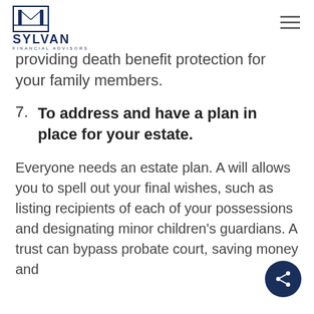SYLVAN FINANCIAL ADVISORS
providing death benefit protection for your family members.
7. To address and have a plan in place for your estate.
Everyone needs an estate plan. A will allows you to spell out your final wishes, such as listing recipients of each of your possessions and designating minor children's guardians. A trust can bypass probate court, saving money and